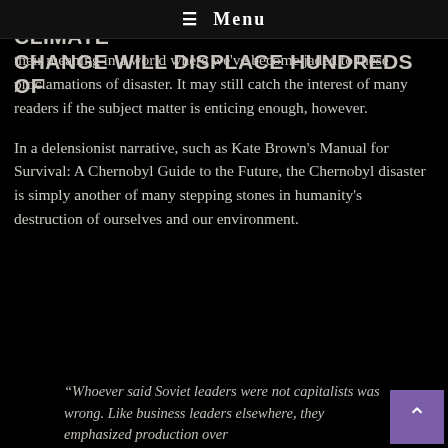headlines proclaiming that CLIMATE CHANGE WILL DISPLACE HUNDREDS OF
≡ Menu
their meaning in a world where we've become jaded to these proclamations of disaster. It may still catch the interest of many readers if the subject matter is enticing enough, however.
In a delensionist narrative, such as Kate Brown's Manual for Survival: A Chernobyl Guide to the Future, the Chernobyl disaster is simply another of many stepping stones in humanity's destruction of ourselves and our environment.
“Whoever said Soviet leaders were not capitalists was wrong. Like business leaders elsewhere, they emphasized production over